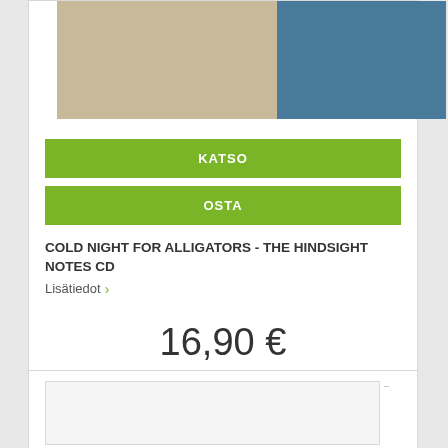[Figure (illustration): Product image split into two color blocks: tan/beige on the left and steel blue on the right]
KATSO
OSTA
COLD NIGHT FOR ALLIGATORS - THE HINDSIGHT NOTES CD
Lisätiedot ›
16,90 €
[Figure (other): Bottom card with empty image placeholder box]